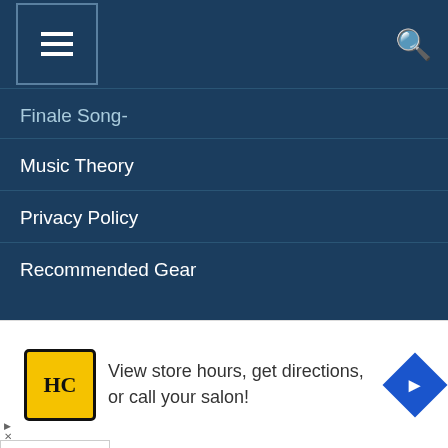Navigation menu with hamburger button and search icon
Finale Song-
Music Theory
Privacy Policy
Recommended Gear
Recent Posts
Newsletter
Protected: Course Migration
Ananya | Toofan | Guitar tabs and
Your email addr
Subscribe
[Figure (screenshot): Advertisement banner: HC logo, text 'View store hours, get directions, or call your salon!', blue diamond arrow icon]